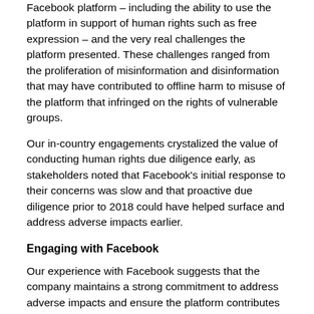Facebook platform – including the ability to use the platform in support of human rights such as free expression – and the very real challenges the platform presented. These challenges ranged from the proliferation of misinformation and disinformation that may have contributed to offline harm to misuse of the platform that infringed on the rights of vulnerable groups.
Our in-country engagements crystalized the value of conducting human rights due diligence early, as stakeholders noted that Facebook's initial response to their concerns was slow and that proactive due diligence prior to 2018 could have helped surface and address adverse impacts earlier.
Engaging with Facebook
Our experience with Facebook suggests that the company maintains a strong commitment to address adverse impacts and ensure the platform contributes in positive ways to users and communities around the world.  Facebook engaged robustly in the process and implemented numerous recommendations we proposed. In doing so, the company has made significant strides in addressing the impacts of its products and respecting the rights of users and others impacted in each country. Specific changes Facebook made in response to our recommendations include:
Corporate policies, including the creation of a new policy to